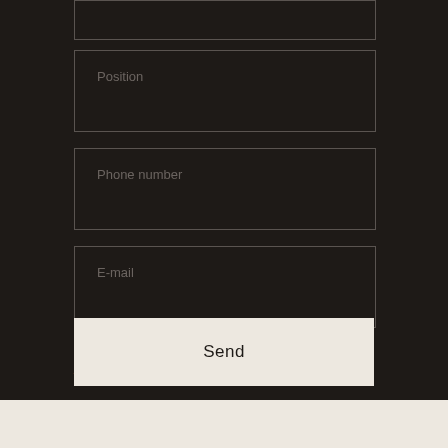[Figure (screenshot): Web form with input fields for Position, Phone number, and E-mail, a consent text with a link to processing of personal data policy, and a Send button. Dark background (#1e1a17) with cream footer bar.]
Position
Phone number
E-mail
By submitting your personal data, you agree with processing of personal data policy.
Send